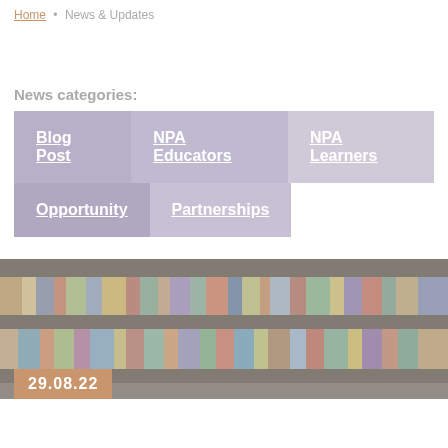Home · News & Updates
News categories:
Blog Post
NPA Educators
NPA Learners
Opportunity
Partnerships
[Figure (photo): Photo of bookshelves filled with colorful books in a library, with a dark overlay/tint]
29.08.22